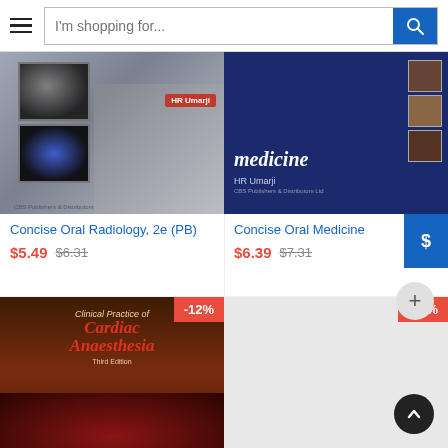[Figure (screenshot): E-commerce website header with hamburger menu and search bar reading 'I'm shopping for...' with blue search button]
[Figure (photo): Book cover: Concise Oral Radiology, 2e (PB) by HR Umarji showing dental X-ray images]
Concise Oral Radiology, 2e (PB)
$5.49  $6.31
[Figure (photo): Book cover: Concise Oral Medicine by HR Umarji with blue background and dental images]
Concise Oral Medicine
$6.39  $7.31
[Figure (photo): Book cover: Clinical Practice of Cardiac Anaesthesia, Third Edition with red and brown design, -12% discount badge]
[Figure (photo): Placeholder book cover with -13% discount badge]